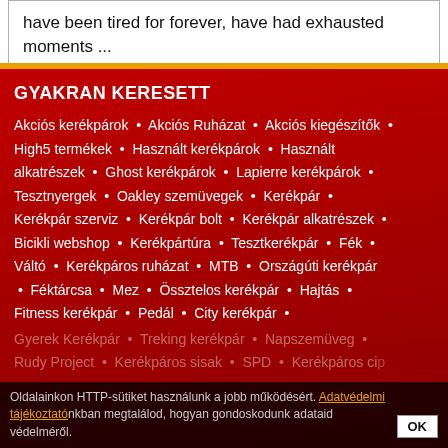have been tired for forever, have had exhausted moments ...
GYAKRAN KERESETT
Akciós kerékpárok • Akciós Ruházat • Akciós kiegészítők • High5 termékek • Használt kerékpárok • Használt alkatrészek • Ghost kerékpárok • Lapierre kerékpárok • Tesztnyergek • Oakley szemüvegek • Kerékpár • Kerékpár szerviz • Kerékpár bolt • Kerékpár alkatrészek • Bicikli webshop • Kerékpártúra • Tesztkerékpár • Fék • Váltó • Kerékpáros ruházat • MTB • Országúti kerékpár • Féktárcsa • Mez • Össztelos kerékpár • Hajtás • Fitness kerékpár • Pedál • City kerékpár •
Gyerek Kerékpár • Treking kerékpár • Napszemüveg • Rudy Project • Kerékpáros sisak • SPD • Kerékpáros cip
Oldalainkon HTTP-sütiket használunk a jobb működésért. Adatvédelmi tájékoztatónkban megtalálod, hogyan gondoskodunk adataid védelméről.